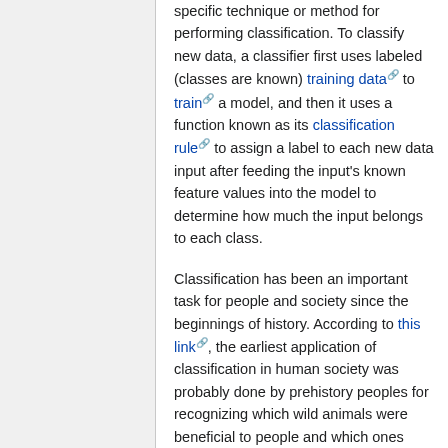specific technique or method for performing classification. To classify new data, a classifier first uses labeled (classes are known) training data to train a model, and then it uses a function known as its classification rule to assign a label to each new data input after feeding the input's known feature values into the model to determine how much the input belongs to each class.

Classification has been an important task for people and society since the beginnings of history. According to this link, the earliest application of classification in human society was probably done by prehistory peoples for recognizing which wild animals were beneficial to people and which ones were harmful, and the earliest systematic use of classification was done by the